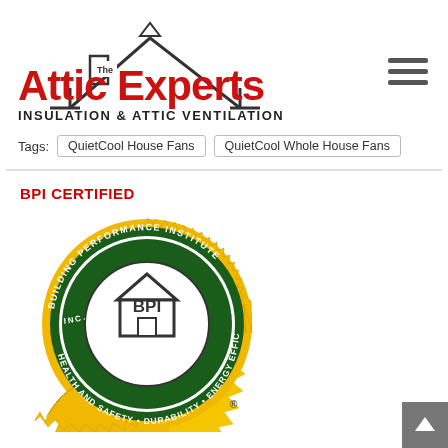[Figure (logo): The Attic Experts logo with house roofline SVG, red bold 'Attic Experts' text, and subtitle 'INSULATION & ATTIC VENTILATION']
[Figure (other): Hamburger menu icon (three horizontal bars)]
Tags: QuietCool House Fans  QuietCool Whole House Fans
BPI CERTIFIED
[Figure (logo): BPI (Building Performance Institute Inc.) circular certification seal with green and gold colors, house icon in center, text around ring: BUILDING PERFORMANCE INSTITUTE, HEALTH AND SAFETY, DURABILITY, ENERGY EFFICIENCY, COMFORT]